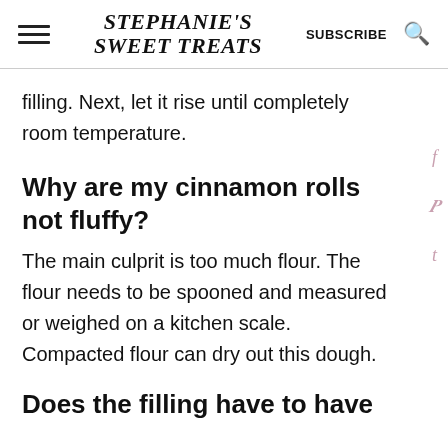STEPHANIE'S SWEET TREATS | SUBSCRIBE
filling. Next, let it rise until completely room temperature.
Why are my cinnamon rolls not fluffy?
The main culprit is too much flour. The flour needs to be spooned and measured or weighed on a kitchen scale. Compacted flour can dry out this dough.
Does the filling have to have